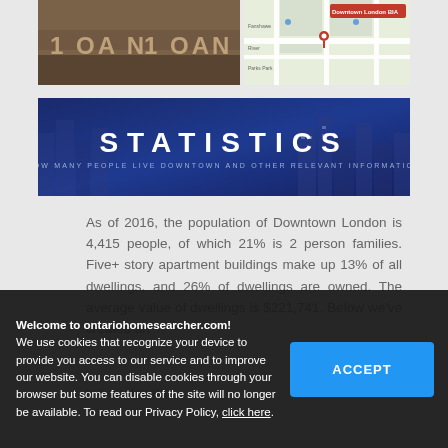[Figure (photo): Photograph of a building or billboard with text visible: numbers and letters on a wall, brownish tones]
[Figure (map): Google Maps screenshot showing Downtown London BIA location with a red map pin marker]
[Figure (infographic): Blue banner with city skyline background reading STATISTICS in large white bold letters, subtitle: HOW MANY PEOPLE LIVE DOWNTOWN AND OTHER RELEVANT INFORMATION]
As of 2016, the population of Downtown London is 4,415 people, of which 21% is 2 person families. Five+ story apartment buildings make up 13% of all dwellings, and 26% of dwellings are owned. The average value of dwellings is $221,741. Below we've created an
most relevant
s
ity
London's Downtown
Welcome to ontariohomesearcher.com!
We use cookies that recognize your device to provide you access to our service and to improve our website. You can disable cookies through your browser but some features of the site will no longer be available. To read our Privacy Policy, click here.